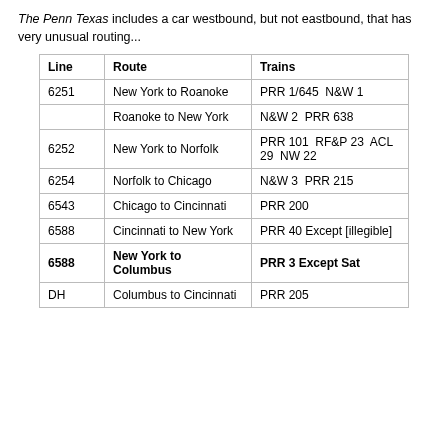The Penn Texas includes a car westbound, but not eastbound, that has very unusual routing...
| Line | Route | Trains |
| --- | --- | --- |
| 6251 | New York to Roanoke | PRR 1/645  N&W 1 |
|  | Roanoke to New York | N&W 2  PRR 638 |
| 6252 | New York to Norfolk | PRR 101  RF&P 23  ACL 29  NW 22 |
| 6254 | Norfolk to Chicago | N&W 3  PRR 215 |
| 6543 | Chicago to Cincinnati | PRR 200 |
| 6588 | Cincinnati to New York | PRR 40 Except [illegible] |
| 6588 | New York to Columbus | PRR 3 Except Sat |
| DH | Columbus to Cincinnati | PRR 205 |